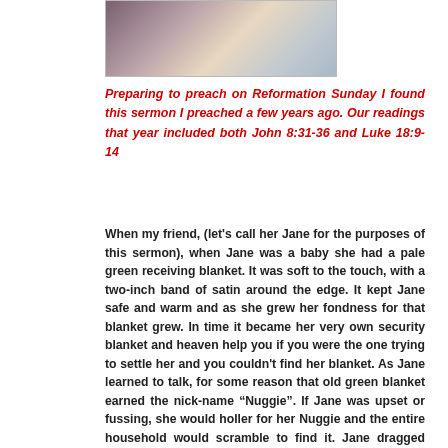[Figure (photo): Partial photo visible at top showing what appears to be colorful items or currency notes]
Preparing to preach on Reformation Sunday I found this sermon I preached a few years ago. Our readings that year included both John 8:31-36 and Luke 18:9-14
When my friend, (let's call her Jane for the purposes of this sermon), when Jane was a baby she had a pale green receiving blanket. It was soft to the touch, with a two-inch band of satin around the edge. It kept Jane safe and warm and as she grew her fondness for that blanket grew. In time it became her very own security blanket and heaven help you if you were the one trying to settle her and you couldn't find her blanket. As Jane learned to talk, for some reason that old green blanket earned the nick-name “Nuggie”. If Jane was upset or fussing, she would holler for her Nuggie and the entire household would scramble to find it. Jane dragged Nuggie everywhere she went and it often got very dirty. We learned very quickly to